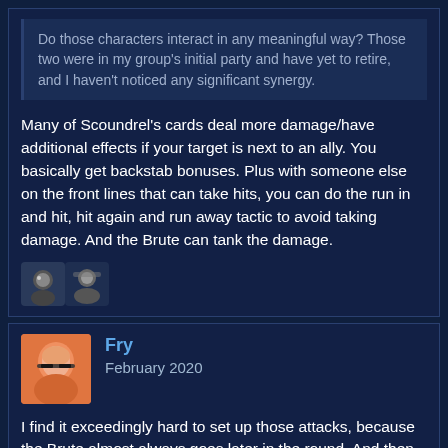Do those characters interact in any meaningful way? Those two were in my group's initial party and have yet to retire, and I haven't noticed any significant synergy.
Many of Scoundrel's cards deal more damage/have additional effects if your target is next to an ally. You basically get backstab bonuses. Plus with someone else on the front lines that can take hits, you can do the run in and hit, hit again and run away tactic to avoid taking damage. And the Brute can tank the damage.
[Figure (photo): Two small avatar icons side by side]
Fry
February 2020
[Figure (photo): User avatar showing an orange-toned illustrated portrait with glasses]
I find it exceedingly hard to set up those attacks, because the Brute almost always goes later in the round. And then doesn't want to rush in and stand next to something that's not dead